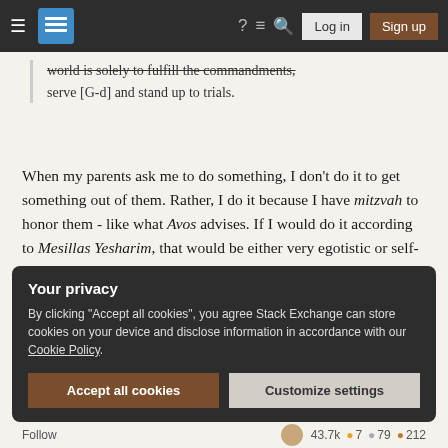Stack Exchange navigation bar with Log in and Sign up buttons
world is solely to fulfill the commandments, serve [G-d] and stand up to trials.
When my parents ask me to do something, I don't do it to get something out of them. Rather, I do it because I have mitzvah to honor them - like what Avos advises. If I would do it according to Mesillas Yesharim, that would be either very egotistic or self-centered relationship.
How can we reconcile the passage in Avos with the Mesillas Yesharim's dictum?
Your privacy
By clicking "Accept all cookies", you agree Stack Exchange can store cookies on your device and disclose information in accordance with our Cookie Policy.
Accept all cookies   Customize settings
Follow   43.7k  7  79  212